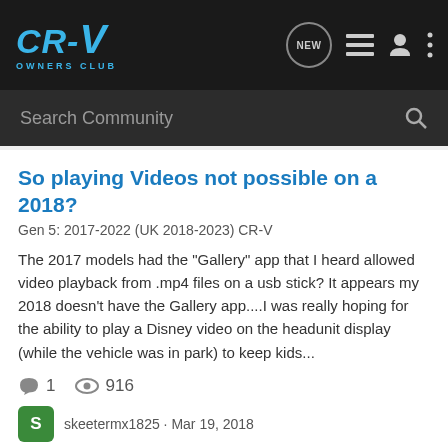[Figure (logo): CR-V Owners Club logo in blue on dark header background]
Search Community
So playing Videos not possible on a 2018?
Gen 5: 2017-2022 (UK 2018-2023) CR-V
The 2017 models had the "Gallery" app that I heard allowed video playback from .mp4 files on a usb stick? It appears my 2018 doesn't have the Gallery app....I was really hoping for the ability to play a Disney video on the headunit display (while the vehicle was in park) to keep kids...
1  916
skeetermx1825 · Mar 19, 2018
2018  playing  videos
How Do I Stop my 2012 CR-V from Playing iTunes when my iPhone 6 is Connected?